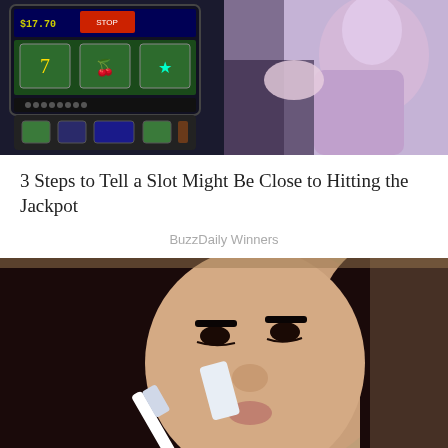[Figure (photo): Two side-by-side images: left shows a slot machine screen with colorful display; right shows a person holding something in a purple/lilac clothing]
3 Steps to Tell a Slot Might Be Close to Hitting the Jackpot
BuzzDaily Winners
[Figure (photo): Close-up photo of a dark-haired woman applying something white to her nose with a brush or applicator tool]